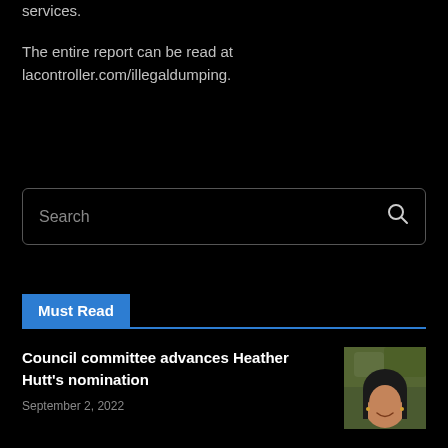services.
The entire report can be read at lacontroller.com/illegaldumping.
[Figure (screenshot): Search input box with placeholder text 'Search' and a magnifying glass icon on the right]
Must Read
Council committee advances Heather Hutt's nomination
September 2, 2022
[Figure (photo): Headshot photo of a woman with dark hair smiling, partially cropped]